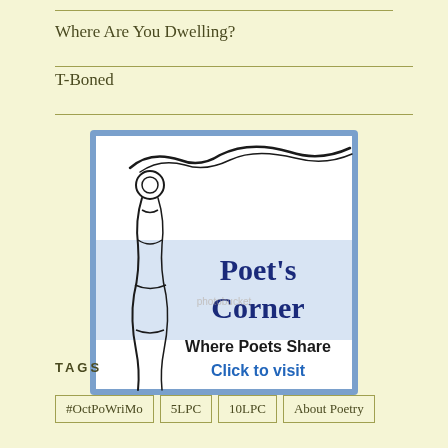Where Are You Dwelling?
T-Boned
[Figure (logo): Poet's Corner badge image with decorative Celtic knotwork on the left, bold navy text reading "Poet's Corner", subtitle "Where Poets Share" and blue text "Click to visit". Photobucket watermark visible.]
TAGS
#OctPoWriMo
5LPC
10LPC
About Poetry